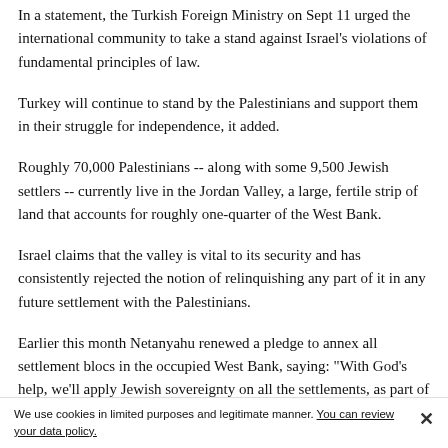In a statement, the Turkish Foreign Ministry on Sept 11 urged the international community to take a stand against Israel's violations of fundamental principles of law.
Turkey will continue to stand by the Palestinians and support them in their struggle for independence, it added.
Roughly 70,000 Palestinians -- along with some 9,500 Jewish settlers -- currently live in the Jordan Valley, a large, fertile strip of land that accounts for roughly one-quarter of the West Bank.
Israel claims that the valley is vital to its security and has consistently rejected the notion of relinquishing any part of it in any future settlement with the Palestinians.
Earlier this month Netanyahu renewed a pledge to annex all settlement blocs in the occupied West Bank, saying: "With God's help, we'll apply Jewish sovereignty on all the settlements, as part of the land of Israel and as part of the state of Israel."
We use cookies in limited purposes and legitimate manner. You can review your data policy.